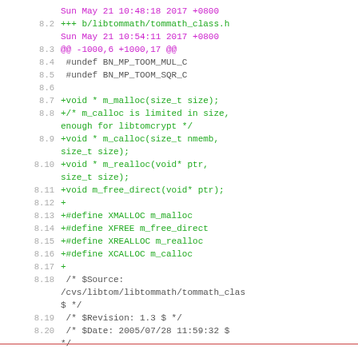Sun May 21 10:48:18 2017 +0800
+++ b/libtommath/tommath_class.h
Sun May 21 10:54:11 2017 +0800
@@ -1000,6 +1000,17 @@
 #undef BN_MP_TOOM_MUL_C
 #undef BN_MP_TOOM_SQR_C

+void * m_malloc(size_t size);
+/* m_calloc is limited in size, enough for libtomcrypt */
+void * m_calloc(size_t nmemb, size_t size);
+void * m_realloc(void* ptr, size_t size);
+void m_free_direct(void* ptr);
+
+#define XMALLOC m_malloc
+#define XFREE m_free_direct
+#define XREALLOC m_realloc
+#define XCALLOC m_calloc
+
 /* $Source: /cvs/libtom/libtommath/tommath_clas$ */
 /* $Revision: 1.3 $ */
 /* $Date: 2005/07/28 11:59:32 $ */